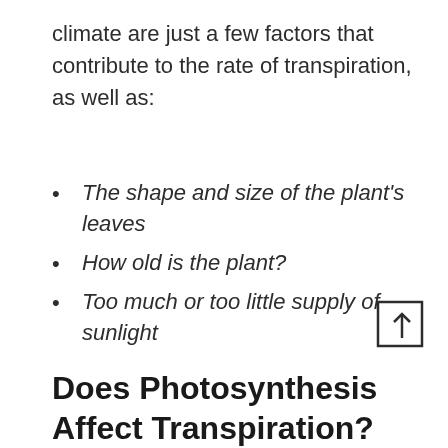climate are just a few factors that contribute to the rate of transpiration, as well as:
The shape and size of the plant's leaves
How old is the plant?
Too much or too little supply of sunlight
Does Photosynthesis Affect Transpiration?